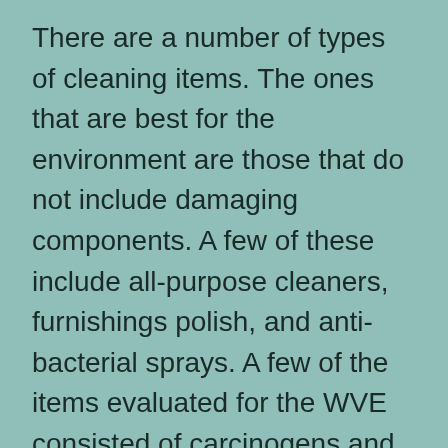There are a number of types of cleaning items. The ones that are best for the environment are those that do not include damaging components. A few of these include all-purpose cleaners, furnishings polish, and anti-bacterial sprays. A few of the items evaluated for the WVE consisted of carcinogens and reproductive toxins. A cleaner with these active ingredients is risk-free and inexpensive, so they are great for your residence. When purchasing a cleansing product, make certain to examine the components.

There are numerous reasons to use Cleaning